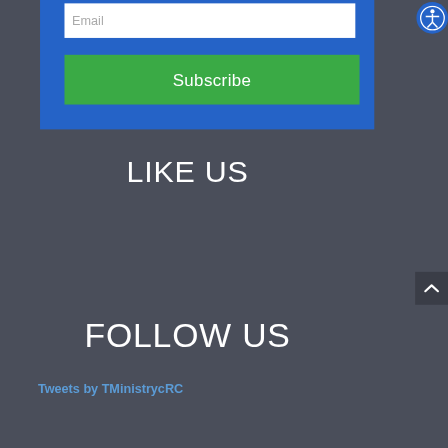Email
Subscribe
LIKE US
FOLLOW US
Tweets by TMinistrycRC